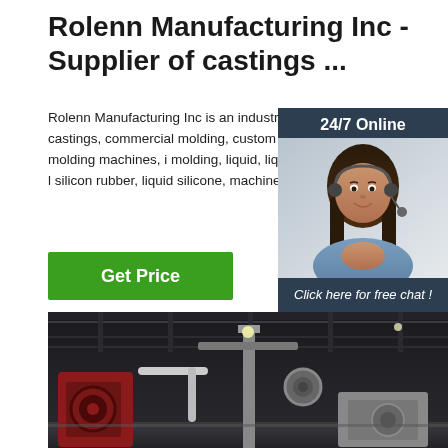Rolenn Manufacturing Inc - Supplier of castings ...
Rolenn Manufacturing Inc is an industrial supplier of castings, commercial molding, custom machining, injection molding machines, i molding, liquid, liquid injection molding, l silicon rubber, liquid silicone, machined.
[Figure (other): 24/7 online chat widget with agent photo, 'Click here for free chat!' text, and orange QUOTATION button]
Get Price
[Figure (photo): Industrial factory interior showing large machinery and equipment in a warehouse setting]